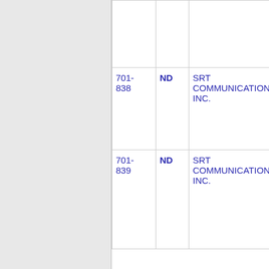| Number | State | Name | Extra |
| --- | --- | --- | --- |
| 701-838 | ND | SRT COMMUNICATIONS, INC. | 3 |
| 701-839 | ND | SRT COMMUNICATIONS, INC. | 3 |